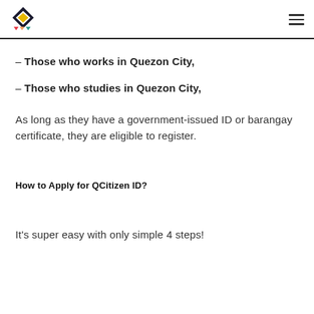QCitizen ID
– Those who works in Quezon City,
– Those who studies in Quezon City,
As long as they have a government-issued ID or barangay certificate, they are eligible to register.
How to Apply for QCitizen ID?
It's super easy with only simple 4 steps!